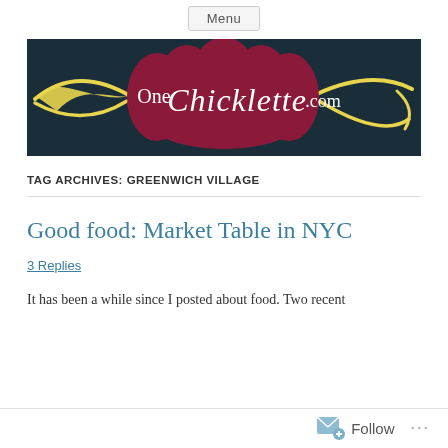Menu
[Figure (logo): OneChicklette.com logo: dark teal background with a large maroon scalloped badge shape in the center, yellow ribbon flourishes on each side, white script text reading 'One Chicklette .com']
TAG ARCHIVES: GREENWICH VILLAGE
Good food: Market Table in NYC
3 Replies
It has been a while since I posted about food. Two recent